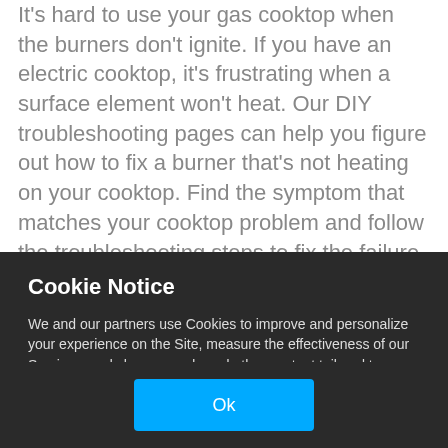It's hard to use your gas cooktop when the burners don't ignite. If you have an electric cooktop, it's frustrating when a surface element won't heat. Our DIY troubleshooting pages can help you figure out how to fix a burner that's not heating on your cooktop. Find the symptom that matches your cooktop problem and follow the troubleshooting steps to fix the failure. Use the search bar to find the replacement parts you need and follow our step-by-step repair guide instructions to install parts. Getting your cooktop back in top shape is easy using our symptom and troubleshooting
Cookie Notice
We and our partners use Cookies to improve and personalize your experience on the Site, measure the effectiveness of our Services, and show you ads and other content tailored to your interests as you navigate the web or interact with us across devices. Privacy Policy